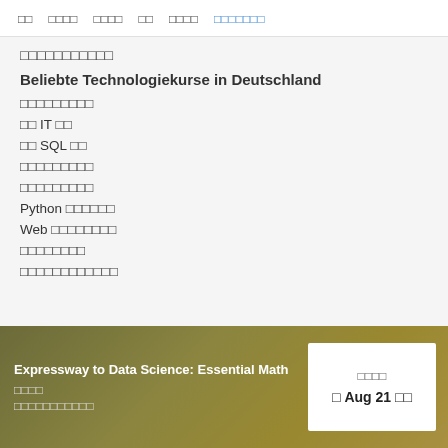□□  □□□□  □□□□  □□  □□□□  □□□□□□□
□□□□□□□□□□□
Beliebte Technologiekurse in Deutschland
□□□□□□□□□
□□ IT □□
□□ SQL □□
□□□□□□□□□
□□□□□□□□□
Python □□□□□□
Web □□□□□□□□
□□□□□□□□
□□□□□□□□□□□□
Expressway to Data Science: Essential Math □□□□ □□□□□□□□□□□
□□□□ □ Aug 21 □□